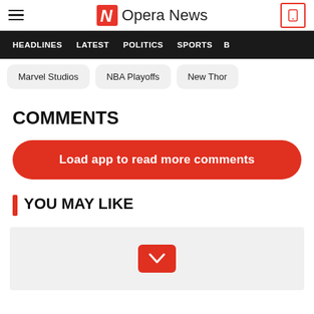Opera News
HEADLINES  LATEST  POLITICS  SPORTS
Marvel Studios
NBA Playoffs
New Thor
COMMENTS
Load app to read more comments
YOU MAY LIKE
[Figure (other): Gray card area with red downward chevron button in center]